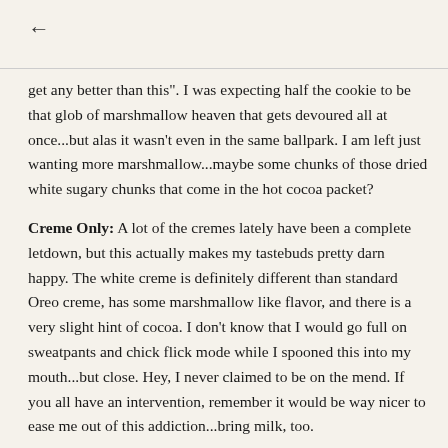←
get any better than this". I was expecting half the cookie to be that glob of marshmallow heaven that gets devoured all at once...but alas it wasn't even in the same ballpark. I am left just wanting more marshmallow...maybe some chunks of those dried white sugary chunks that come in the hot cocoa packet?
Creme Only: A lot of the cremes lately have been a complete letdown, but this actually makes my tastebuds pretty darn happy. The white creme is definitely different than standard Oreo creme, has some marshmallow like flavor, and there is a very slight hint of cocoa. I don't know that I would go full on sweatpants and chick flick mode while I spooned this into my mouth...but close. Hey, I never claimed to be on the mend. If you all have an intervention, remember it would be way nicer to ease me out of this addiction...bring milk, too.